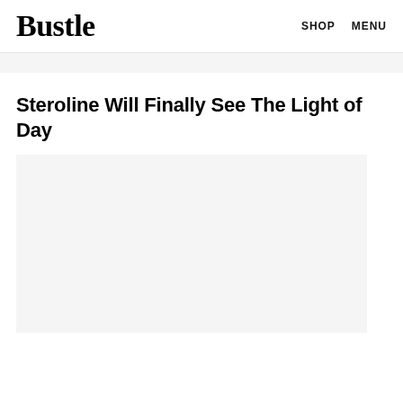Bustle   SHOP   MENU
Steroline Will Finally See The Light of Day
[Figure (photo): Large image placeholder with light gray background]